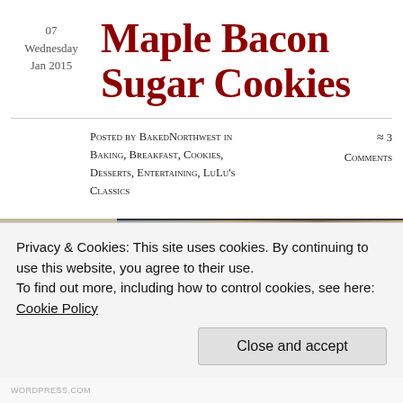07
Wednesday
Jan 2015
Maple Bacon Sugar Cookies
Posted by BakedNorthwest in Baking, Breakfast, Cookies, Desserts, Entertaining, LuLu's Classics
≈ 3 Comments
So...this happened.
[Figure (photo): Partial view of maple bacon sugar cookies photo strip]
Privacy & Cookies: This site uses cookies. By continuing to use this website, you agree to their use.
To find out more, including how to control cookies, see here:
Cookie Policy
Close and accept